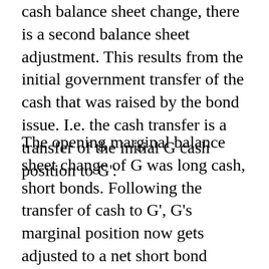cash balance sheet change, there is a second balance sheet adjustment. This results from the initial government transfer of the cash that was raised by the bond issue. I.e. the cash transfer is a transfer of the initial G cash position to G':
The opening marginal balance sheet change of G was long cash, short bonds. Following the transfer of cash to G', G's marginal position now gets adjusted to a net short bond position. (Complete, pure accounting would show equity as a left hand entry, not normally done in government